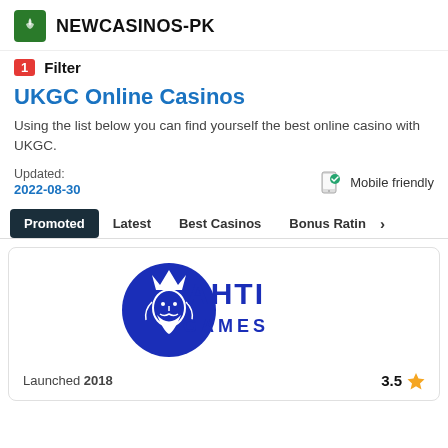NEWCASINOS-PK
1  Filter
UKGC Online Casinos
Using the list below you can find yourself the best online casino with UKGC.
Updated:
2022-08-30
Mobile friendly
Promoted  Latest  Best Casinos  Bonus Ratin >
[Figure (logo): AHTI GAMES logo — blue circle with a bearded king figure and text AHTI GAMES in bold blue letters]
Launched 2018
3.5 ★